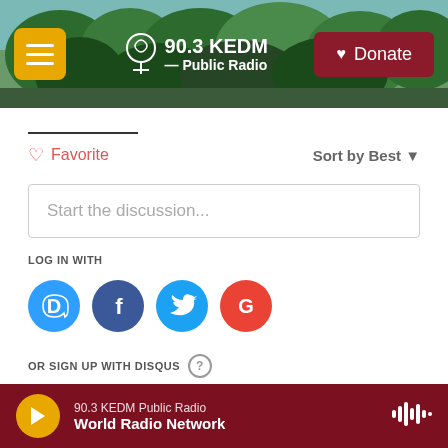90.3 KEDM Public Radio | Donate
Favorite | Sort by Best
Start the discussion...
LOG IN WITH
[Figure (logo): Social login icons: Disqus (blue), Facebook (dark blue), Twitter (light blue), Google (red)]
OR SIGN UP WITH DISQUS
Name
Be the first to comment.
90.3 KEDM Public Radio | World Radio Network